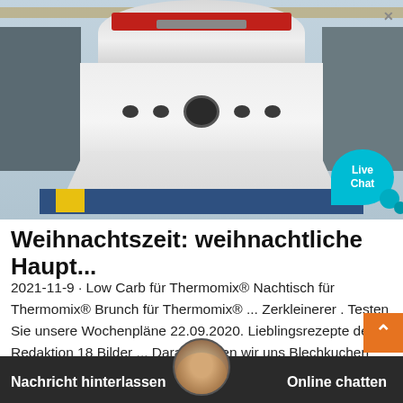[Figure (photo): Industrial crusher/cone crusher machine photographed in a factory/warehouse setting. Large white and gray heavy machinery with red band at the top. A 'Live Chat' cyan speech bubble overlay is visible in the bottom-right corner of the image.]
Weihnachtszeit: weihnachtliche Haupt...
2021-11-9 · Low Carb für Thermomix® Nachtisch für Thermomix® Brunch für Thermomix® ... Zerkleinerer . Testen Sie unsere Wochenpläne 22.09.2020. Lieblingsrezepte der Redaktion 18 Bilder ... Darauf freuen wir uns Blechkuchen 13.08.2020. Blumenkohlsuppe 12 Bilder . Basilikum-Rezepte 021.Billigflüge mit low-cost Fluglinien2016-12-25 …lichBudget Suche nach
Nachricht hinterlassen    Online chatten